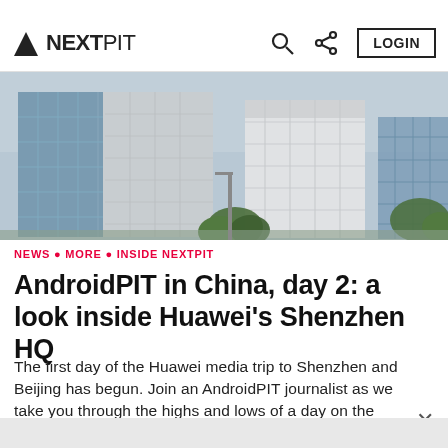Tech & Community
NEXTPIT
[Figure (photo): Exterior photograph of Huawei's Shenzhen HQ building — a modern glass and concrete office complex with trees in the foreground and cloudy sky background.]
NEWS • MORE • INSIDE NEXTPIT
AndroidPIT in China, day 2: a look inside Huawei's Shenzhen HQ
The first day of the Huawei media trip to Shenzhen and Beijing has begun. Join an AndroidPIT journalist as we take you through the highs and lows of a day on the job.
Kyle Schurman • Nov 6, 2015 • 4 min